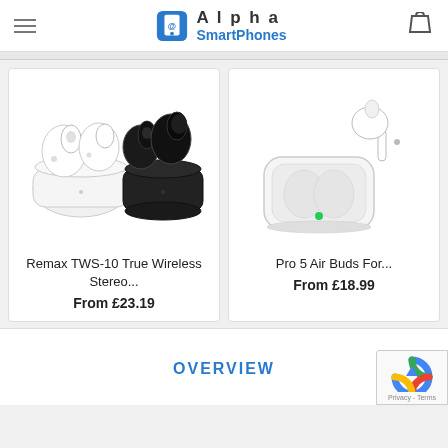Alpha SmartPhones
[Figure (photo): Remax TWS-10 True Wireless Stereo earbuds: white pair in open white charging case and black pair in open black charging case]
Remax TWS-10 True Wireless Stereo...
From £23.19
[Figure (photo): Pro 5 Air Buds: white wireless earbuds with one earbud outside and one inside open white charging case with green LED indicator]
Pro 5 Air Buds For...
From £18.99
OVERVIEW